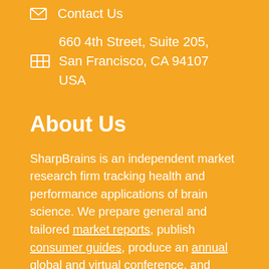Contact Us
660 4th Street, Suite 205, San Francisco, CA 94107 USA
About Us
SharpBrains is an independent market research firm tracking health and performance applications of brain science. We prepare general and tailored market reports, publish consumer guides, produce an annual global and virtual conference, and provide strategic advisory services.